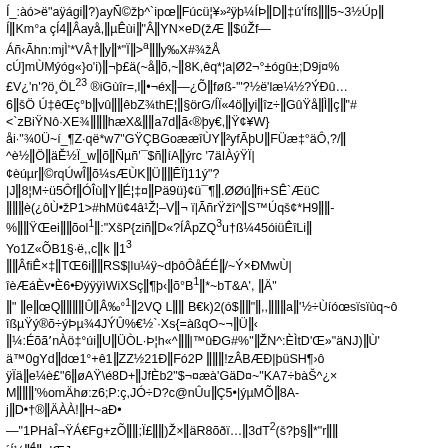Í_:àó>ë"aÿágiǁ?)ayÑ©žþ^`ipœǁFúcü¦¥»²ÿþ¼ÍÞǁDǁ‡ú'Ífßǁǁ5~3½Úpǁ ÍǁKm°a çÍ4ǁÂayå,ǁµÊùiǁ"ÂǁYN×eD(žÆ ǁ$úŽf— Áñ‹Ãhn:mjÌ'*VÂ†ǁyǁ*"Ïǁ>ᵃǁǁy‰X#¾žÅ cÚ]mÙMýóg«}o'i)ǁ¬þ£ä(~åǁõ,~ǁ8K,êq*¦a|Ø2¬°±ógû±;D9j¤% £V¿'n'?ö¸ÖL²³ ®iGùîr=,lǁ•¬éxǁ—¿Õǁfø ß-'"?½ë'læ¼½?ÝÐû… 6ǁšÖ Ú‡êŒç°bǁvûǁǁêbZ¾thEǀǁ§örG/ÍÏ«4öǁyiǁîz÷ǁGûŸåǁÌǁçǁ"# <`zBiŸNô·XE¾ǁǁǁhæX&ǁǁa7dǁã‹®þy€,ǁŸ¢¥W} åi·"¾0Ü~í_¶Z·që*w7"GŸÇBGoææîÙYǁ²yfÃþUǁFÜæ‡°äÔ,?/ǁ ^è½ǁÖǁäĚ½Ï_wǁõǁÑµñ'¯$ñǁíAǁýrc '7äIÀýŸÏ| ¢èúµrǁ©rqÚwÎǁõ¼sÆÙKǁÜǁǁĒÏ]11ý"? |Jǁ8ǀ¦M÷ü5ÔfǁÓÎùǁYǁÉǀ‡¤ǁPä9ü}¢ü¯¶ǁ.ØØúǁfi+SÊ`ÆüC ǁǁǁè(¿ôÙ•žP1›>#hMü¢4â¹Žǀ–Vǁ¬ ï|ÃñrŸžî^ǁS™Úqš¢*H9ǁǁ- %ǁǁŸŒeiǁǁõol¹ǁ:"XšP{ziñǁD«?ÍÂpZQ³u†ß¼45óiüÊîLiǁ Yo1Z«ÕB1§·ë,,cǁk ǁ1³ ǁǁÂfiÊ×‡ǁTŒ6iǁǁRS$|lu¼ÿ~dþôÔåÉÉǁ/~Ý×ÐMwÙ| îèÆáÈv•È6•ÐÿÿÿìWiXSçǁ¶þ‹ǁõ°B¹ǁ*~bT&A', ǁÄ" ǁ" ǁeǁœQǁǁǁǁÛǁÂ‰°¹ǁ2VQ Lǁǁ B€k)2(ó$ǁǁ"ǁ,,ǁǁǁaǁ'½÷Ùíóœsïsïùq~ô îßµŸý®õ÷ýÞµ¾4JÝÛ%€½`·Xs{=àßqO~¬ǁÜǁ‹ ǁ¼:ÉõãʼnÀö‡°úiǁUǁÜÒL·Þǀh«^ǁǁ|™û ÐG#%"ǁŽN^:ÈÌtD'Œ»"äNJ)ǁÙ' ä™0gYdǁdœ1°+ê1ǁZZ½21ÐǁFó2P ǁǁǁ!zÂBÆÐ|þüSH¶›ô ÿÏäǁe¼è£"6ǁøAŸ\é8D+ǁJfÈb2"$¬¤æà'GäD¤~"KA7÷bàŠ^¿× Mǁǁǁ'%omÄhø:z6;P:ç,JÓ÷D?c@nÛuǁÇ5•|ýµMÕǁ8A- jǁD•†®ǁÄÀÀ!ǁH~aÐ• —"1PHàÎ¬ŸÁ€Fg+zÕǁǁ;Ï£ǁǁ)Ž×ǁäR8õðï…ǁ3dT²(š?þ§ǁ*"rǁǁ ´Í½ǁ⁴ǁ¸ lŒJ